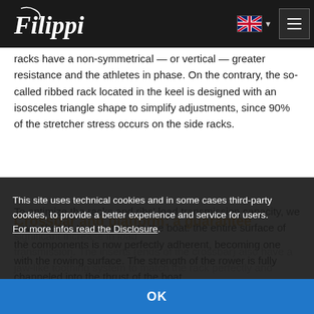Filippi [logo] | EN flag dropdown | hamburger menu
racks have a non-symmetrical — or vertical — greater resistance and the athletes in phase. On the contrary, the so-called ribbed rack located in the keel is designed with an isosceles triangle shape to simplify adjustments, since 90% of the stretcher stress occurs on the side racks.
To optimize the racks and ribs' load transmission capacity, we have chosen to glue them to the boat: the entire surface of the components is now perfectly adherent, becoming one with the rowing surface. The strength of the rower is fully channeled into the thrust of the boat
Crossbar and platform: a guarantee
significant increase in load transmission. The inserts (ends of the crossbar) also have a jaw-like toothing system to match the rack perfectly and
This site uses technical cookies and in some cases third-party cookies, to provide a better experience and service for users. For more infos read the Disclosure.
OK